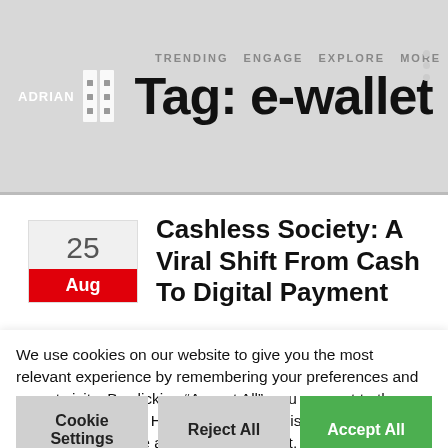Tag: e-wallet
Cashless Society: A Viral Shift From Cash To Digital Payment
By Danielle Tsang
alibaba, applepay, bank, britian, card, cash, cashless, china, digitization
We use cookies on our website to give you the most relevant experience by remembering your preferences and repeat visits. By clicking “Accept All”, you consent to the use of ALL the cookies. However, you may visit "Cookie Settings" to provide a controlled consent.